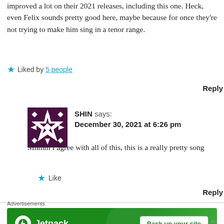improved a lot on their 2021 releases, including this one. Heck, even Felix sounds pretty good here, maybe because for once they're not trying to make him sing in a tenor range.
★ Liked by 5 people
Reply
[Figure (illustration): Dark purple square avatar with a geometric snowflake/star pattern in white]
SHIN says: December 30, 2021 at 6:26 pm
Mnmm I agree with all of this, this is a really pretty song
★ Like
Reply
Advertisements
[Figure (screenshot): Jetpack advertisement banner with green background showing Jetpack logo and 'Back up your site' button]